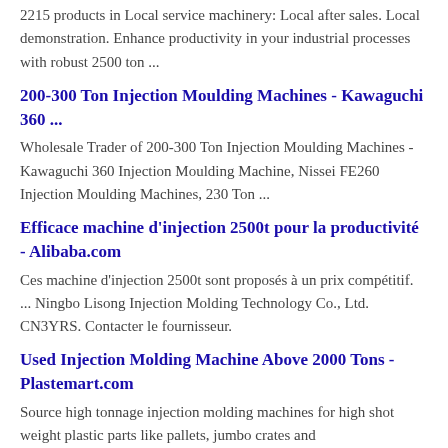2215 products in Local service machinery: Local after sales. Local demonstration. Enhance productivity in your industrial processes with robust 2500 ton ...
200-300 Ton Injection Moulding Machines - Kawaguchi 360 ...
Wholesale Trader of 200-300 Ton Injection Moulding Machines - Kawaguchi 360 Injection Moulding Machine, Nissei FE260 Injection Moulding Machines, 230 Ton ...
Efficace machine d'injection 2500t pour la productivité - Alibaba.com
Ces machine d'injection 2500t sont proposés à un prix compétitif. ... Ningbo Lisong Injection Molding Technology Co., Ltd. CN3YRS. Contacter le fournisseur.
Used Injection Molding Machine Above 2000 Tons - Plastemart.com
Source high tonnage injection molding machines for high shot weight plastic parts like pallets, jumbo crates and